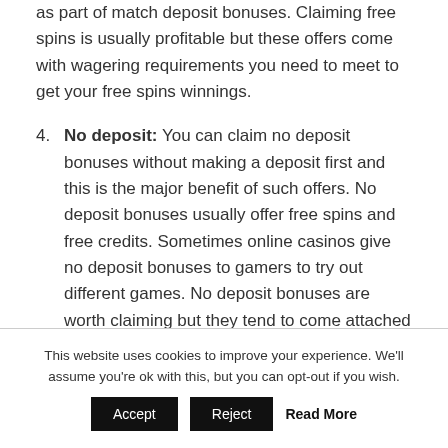as part of match deposit bonuses. Claiming free spins is usually profitable but these offers come with wagering requirements you need to meet to get your free spins winnings.
4. No deposit: You can claim no deposit bonuses without making a deposit first and this is the major benefit of such offers. No deposit bonuses usually offer free spins and free credits. Sometimes online casinos give no deposit bonuses to gamers to try out different games. No deposit bonuses are worth claiming but they tend to come attached with higher wagering requirements and a maximum win limit.
This website uses cookies to improve your experience. We'll assume you're ok with this, but you can opt-out if you wish.